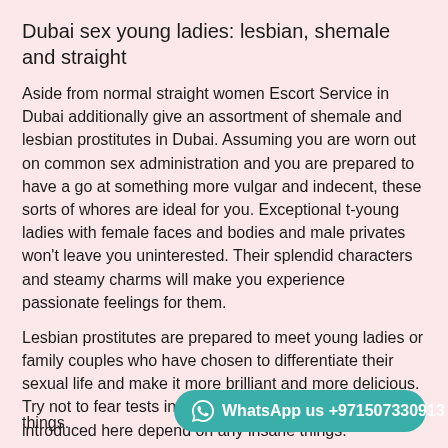Dubai sex young ladies: lesbian, shemale and straight
Aside from normal straight women Escort Service in Dubai additionally give an assortment of shemale and lesbian prostitutes in Dubai. Assuming you are worn out on common sex administration and you are prepared to have a go at something more vulgar and indecent, these sorts of whores are ideal for you. Exceptional t-young ladies with female faces and bodies and male privates won't leave you uninterested. Their splendid characters and steamy charms will make you experience passionate feelings for them.
Lesbian prostitutes are prepared to meet young ladies or family couples who have chosen to differentiate their sexual life and make it more brilliant and more delicious. Try not to fear tests in light of the fact that the prostitutes introduced here depend on any insane things.
WhatsApp us +971507330913